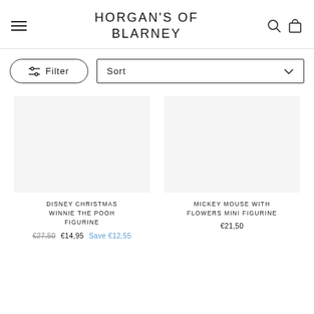HORGAN'S OF BLARNEY
Filter
Sort
DISNEY CHRISTMAS WINNIE THE POOH FIGURINE
€27,50  €14,95  Save €12,55
MICKEY MOUSE WITH FLOWERS MINI FIGURINE
€21,50